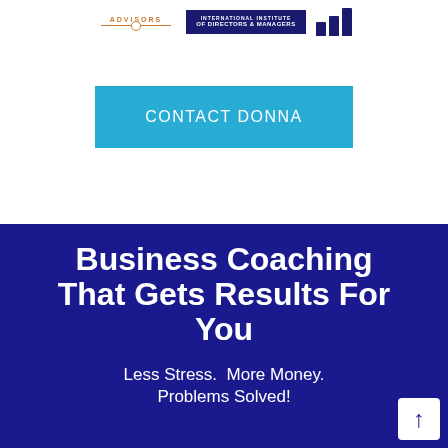[Figure (logo): Three logos in a row: an 'Advisors' text logo with orange line and circle, an IIDM (International Institute of Directors & Managers) dark blue box logo, and a blue bar chart/column logo]
CONTACT DONNA
Business Coaching That Gets Results For You
Less Stress.  More Money. Problems Solved!